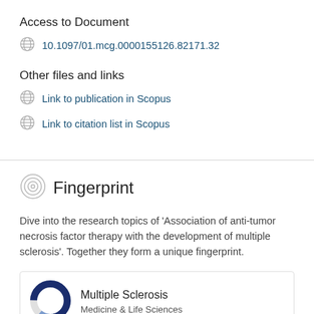Access to Document
10.1097/01.mcg.0000155126.82171.32
Other files and links
Link to publication in Scopus
Link to citation list in Scopus
Fingerprint
Dive into the research topics of 'Association of anti-tumor necrosis factor therapy with the development of multiple sclerosis'. Together they form a unique fingerprint.
Multiple Sclerosis
Medicine & Life Sciences